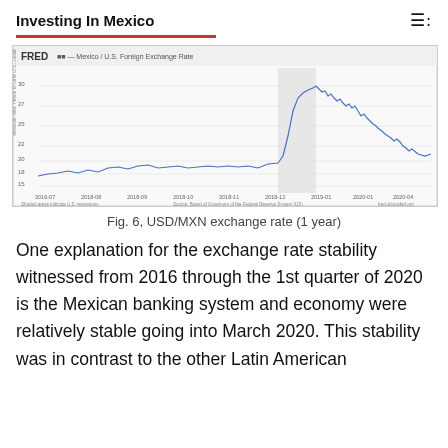Investing In Mexico
[Figure (continuous-plot): FRED chart showing Mexico / U.S. Foreign Exchange Rate over approximately 4 years (2016-2020). The line remains relatively flat around 18-20 MXN per USD from 2016 through early 2020, then spikes sharply upward to around 25 MXN during early 2020 (COVID shock), before partially recovering. A shaded region indicates a U.S. recession. Source: Board of Governors of the Federal Reserve System (US), fred.stlouisfed.org]
Fig. 6, USD/MXN exchange rate (1 year)
One explanation for the exchange rate stability witnessed from 2016 through the 1st quarter of 2020 is the Mexican banking system and economy were relatively stable going into March 2020. This stability was in contrast to the other Latin American